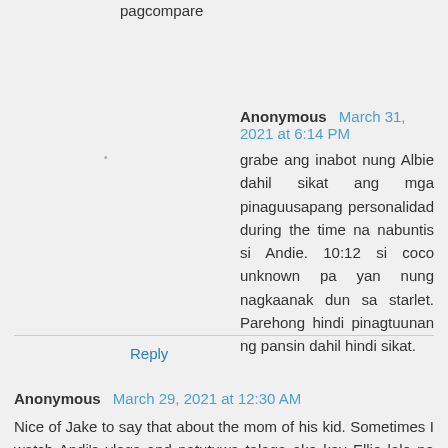pagcompare
Anonymous March 31, 2021 at 6:14 PM
grabe ang inabot nung Albie dahil sikat ang mga pinaguusapang personalidad during the time na nabuntis si Andie. 10:12 si coco unknown pa yan nung nagkaanak dun sa starlet. Parehong hindi pinagtuunan ng pansin dahil hindi sikat.
Reply
Anonymous March 29, 2021 at 12:30 AM
Nice of Jake to say that about the mom of his kid. Sometimes I watch Andi's vlogs and natutuwa talaga ako kay Ellie lalo na the way she takes care of Lilo. She's growing up to be a well adjusted kid at hindi mahirap i-please. She gets along well with kids na mga locals in Siargao. May barkada na nga siya doon. Nagkakamay din siya kumain at hindi nihikan sa ulam. She can be a